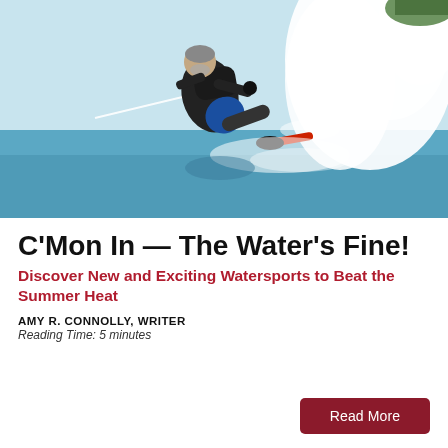[Figure (photo): A man in a black wetsuit and blue shorts water skiing on a lake, leaning back with spray shooting up behind him, tow rope extended forward, red ski visible.]
C'Mon In — The Water's Fine!
Discover New and Exciting Watersports to Beat the Summer Heat
AMY R. CONNOLLY, WRITER
Reading Time: 5 minutes
Read More